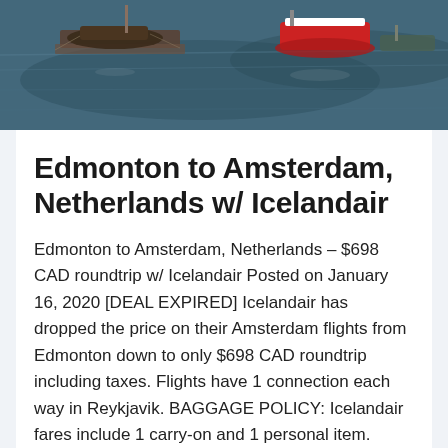[Figure (photo): Aerial or elevated view of boats on a dark blue-green waterway, with wooden docks and a red and white vessel visible.]
Edmonton to Amsterdam, Netherlands w/ Icelandair
Edmonton to Amsterdam, Netherlands – $698 CAD roundtrip w/ Icelandair Posted on January 16, 2020 [DEAL EXPIRED] Icelandair has dropped the price on their Amsterdam flights from Edmonton down to only $698 CAD roundtrip including taxes. Flights have 1 connection each way in Reykjavik. BAGGAGE POLICY: Icelandair fares include 1 carry-on and 1 personal item. Refer…